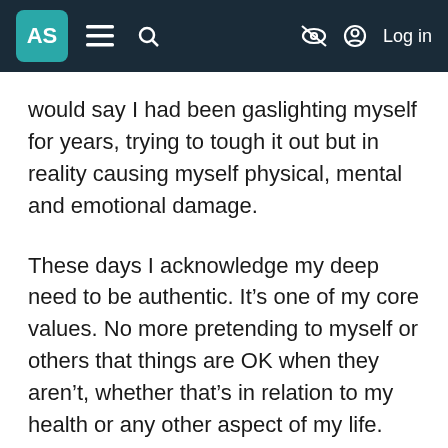AS [logo] ≡ 🔍 [eye-slash icon] [user icon] Log in
would say I had been gaslighting myself for years, trying to tough it out but in reality causing myself physical, mental and emotional damage.
These days I acknowledge my deep need to be authentic. It's one of my core values. No more pretending to myself or others that things are OK when they aren't, whether that's in relation to my health or any other aspect of my life.